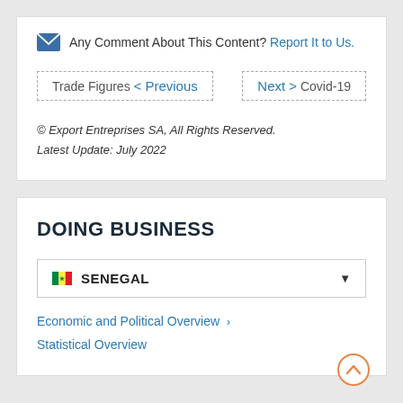Any Comment About This Content? Report It to Us.
Trade Figures < Previous    Next > Covid-19
© Export Entreprises SA, All Rights Reserved.
Latest Update: July 2022
DOING BUSINESS
SENEGAL
Economic and Political Overview >
Statistical Overview